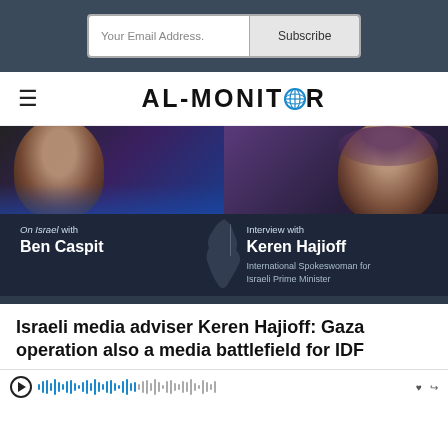Your Email Address. Subscribe
AL-MONITOR
[Figure (photo): Banner image showing two people with overlay text: 'On Israel with Ben Caspit' on the left and 'Interview with Keren Hajioff, International Spokeswoman for Israeli Prime Minister' on the right]
Israeli media adviser Keren Hajioff: Gaza operation also a media battlefield for IDF